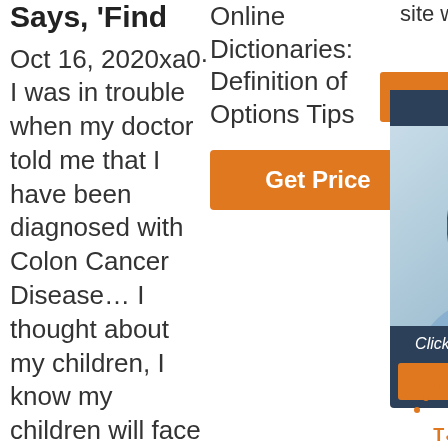Says, 'Find
Oct 16, 2020xa0· I was in trouble when my doctor told me that I have been diagnosed with Colon Cancer Disease… I thought about my children, I know my children will face a serious problem when
Online Dictionaries: Definition of Options Tips
[Figure (infographic): Orange 'Get Price' button]
site won't allow us.
[Figure (infographic): Ad widget with '24/7 Online' header, photo of woman with headset, 'Click here for free chat!' text, and orange QUOTATION button]
[Figure (infographic): Orange dotted triangle 'TOP' icon]